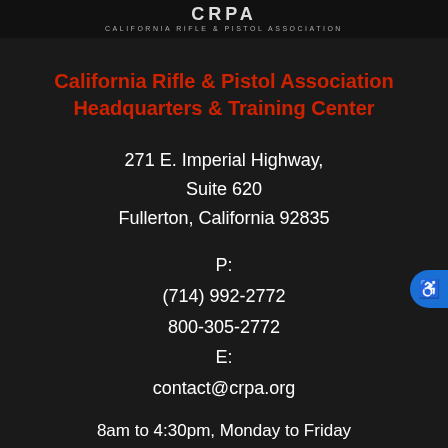[Figure (logo): California Rifle & Pistol Association logo with stylized CRPA letters above text 'CALIFORNIA RIFLE & PISTOL ASSOCIATION']
California Rifle & Pistol Association Headquarters & Training Center
271 E. Imperial Highway,
Suite 620
Fullerton, California 92835
P:
(714) 992-2772
800-305-2772
E:
contact@crpa.org
8am to 4:30pm, Monday to Friday